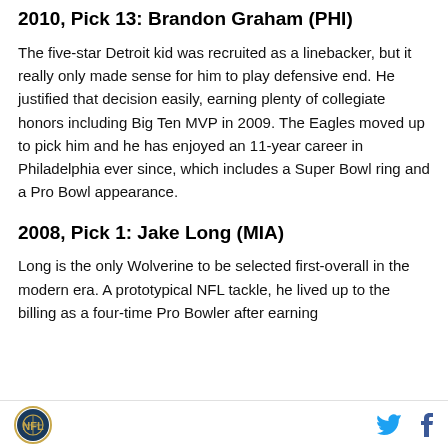2010, Pick 13: Brandon Graham (PHI)
The five-star Detroit kid was recruited as a linebacker, but it really only made sense for him to play defensive end. He justified that decision easily, earning plenty of collegiate honors including Big Ten MVP in 2009. The Eagles moved up to pick him and he has enjoyed an 11-year career in Philadelphia ever since, which includes a Super Bowl ring and a Pro Bowl appearance.
2008, Pick 1: Jake Long (MIA)
Long is the only Wolverine to be selected first-overall in the modern era. A prototypical NFL tackle, he lived up to the billing as a four-time Pro Bowler after earning consensus All-American honors at...